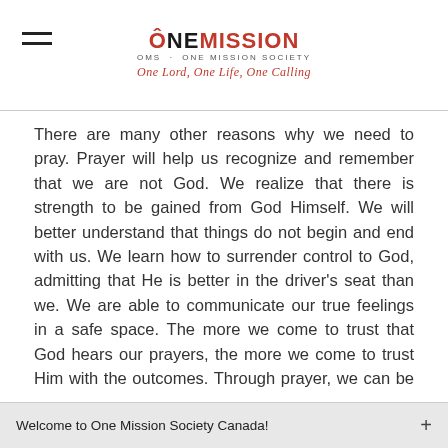ONE MISSION · OMS · ONE MISSION SOCIETY · One Lord, One Life, One Calling
There are many other reasons why we need to pray. Prayer will help us recognize and remember that we are not God. We realize that there is strength to be gained from God Himself. We will better understand that things do not begin and end with us. We learn how to surrender control to God, admitting that He is better in the driver's seat than we. We are able to communicate our true feelings in a safe space. The more we come to trust that God hears our prayers, the more we come to trust Him with the outcomes. Through prayer, we can be encouraged to take steps of faith. And we have the assurance that God is waiting to act in response to prayer (John 15:7-8).
Welcome to One Mission Society Canada!